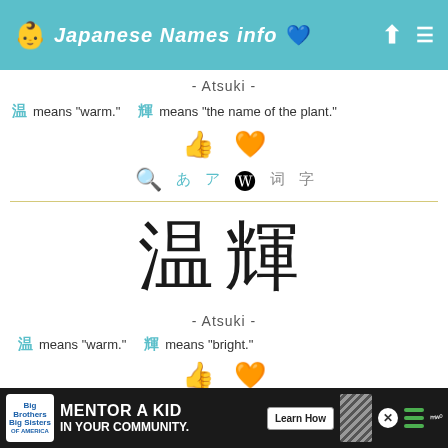Japanese Names info
- Atsuki -
温 means "warm."   輝 means "the name of the plant."
[Figure (other): Thumbs up and heart icons]
[Figure (other): Search and Wikipedia icons row]
[Figure (other): Large kanji characters 温 輝]
- Atsuki -
温 means "warm."   輝 means "bright."
[Figure (other): Thumbs up and heart icons]
[Figure (other): Advertisement banner: Big Brothers Big Sisters - Mentor a Kid in Your Community]